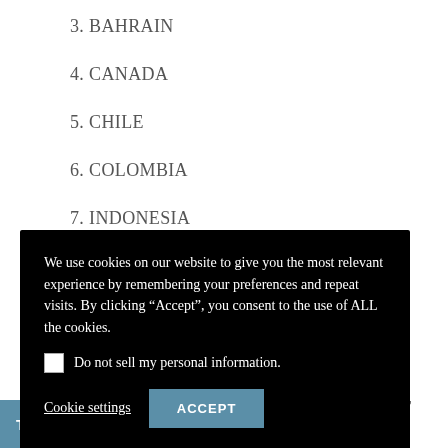3. BAHRAIN
4. CANADA
5. CHILE
6. COLOMBIA
7. INDONESIA
We use cookies on our website to give you the most relevant experience by remembering your preferences and repeat visits. By clicking “Accept”, you consent to the use of ALL the cookies.
Do not sell my personal information.
Cookie settings   ACCEPT
15. UNITED ARAB EMIRATES
16. URUGUAY
17. CHINA
Translate »  STRATIVE REGIONS OF CHINA